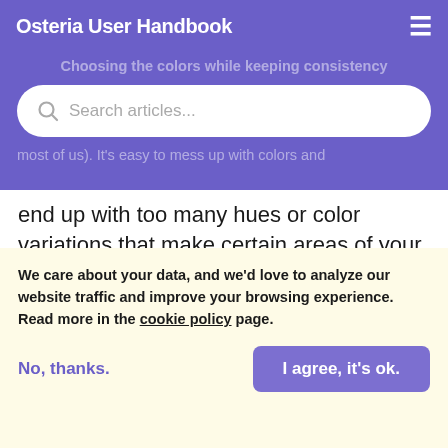Osteria User Handbook
Choosing the colors while keeping consistency
[Figure (screenshot): Search bar with magnifying glass icon and placeholder text 'Search articles...']
most of us). It's easy to mess up with colors and end up with too many hues or color variations that make certain areas of your website (text, buttons, section) hardly visible for your visitors.
When it comes to building a website, besides the good-looking aspect, you must make sure that the colors make your content visible,
We care about your data, and we'd love to analyze our website traffic and improve your browsing experience. Read more in the cookie policy page.
No, thanks.
I agree, it's ok.